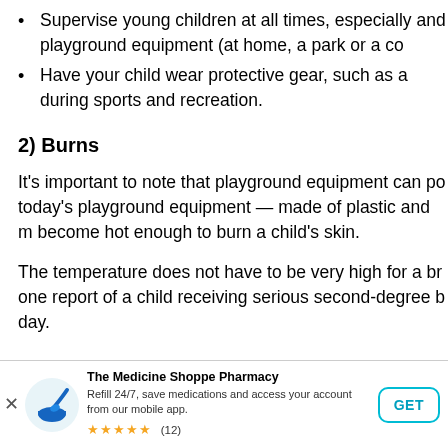Supervise young children at all times, especially and playground equipment (at home, a park or a co
Have your child wear protective gear, such as a during sports and recreation.
2) Burns
It's important to note that playground equipment can po today's playground equipment — made of plastic and m become hot enough to burn a child's skin.
The temperature does not have to be very high for a br one report of a child receiving serious second-degree b day.
[Figure (infographic): Advertisement banner for The Medicine Shoppe Pharmacy mobile app. Shows pharmacy logo (blue mortar and pestle), app title, description 'Refill 24/7, save medications and access your account from our mobile app.', five gold stars rating with (12) reviews, and a GET button with teal border.]